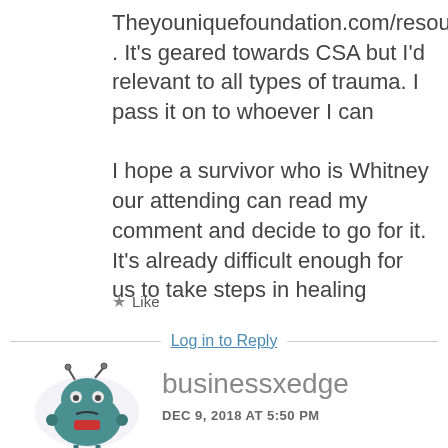Theyouniquefoundation.com/resources . It's geared towards CSA but I'd relevant to all types of trauma. I pass it on to whoever I can
I hope a survivor who is Whitney our attending can read my comment and decide to go for it. It's already difficult enough for us to take steps in healing
Like
Log in to Reply
[Figure (illustration): Cartoon robot avatar with teal/green round body, antenna, and simple facial features]
businessxedge
DEC 9, 2018 AT 5:50 PM